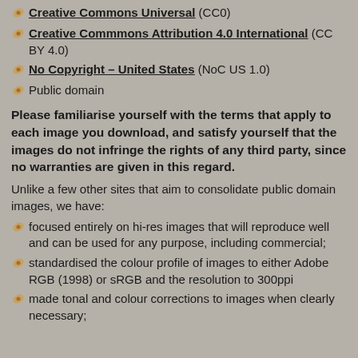Creative Commons Universal (CC0)
Creative Commmons Attribution 4.0 International (CC BY 4.0)
No Copyright – United States (NoC US 1.0)
Public domain
Please familiarise yourself with the terms that apply to each image you download, and satisfy yourself that the images do not infringe the rights of any third party, since no warranties are given in this regard.
Unlike a few other sites that aim to consolidate public domain images, we have:
focused entirely on hi-res images that will reproduce well and can be used for any purpose, including commercial;
standardised the colour profile of images to either Adobe RGB (1998) or sRGB and the resolution to 300ppi
made tonal and colour corrections to images when clearly necessary;